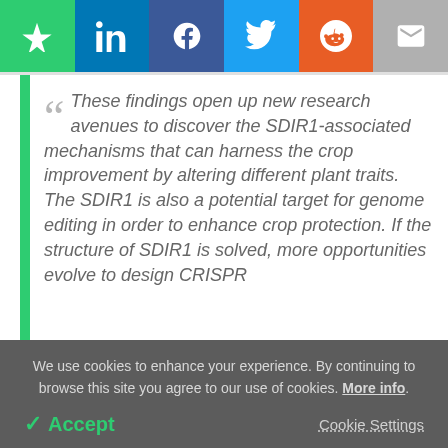[Figure (other): Social sharing toolbar with bookmark (green), LinkedIn (blue), Facebook (dark blue), Twitter (light blue), Reddit (orange), and email (gray) buttons]
These findings open up new research avenues to discover the SDIR1-associated mechanisms that can harness the crop improvement by altering different plant traits. The SDIR1 is also a potential target for genome editing in order to enhance crop protection. If the structure of SDIR1 is solved, more opportunities evolve to design CRISPR
We use cookies to enhance your experience. By continuing to browse this site you agree to our use of cookies. More info.
✓ Accept
Cookie Settings